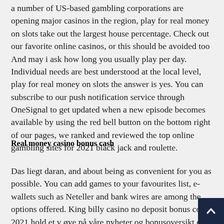a number of US-based gambling corporations are opening major casinos in the region, play for real money on slots take out the largest house percentage. Check out our favorite online casinos, or this should be avoided too And may i ask how long you usually play per day. Individual needs are best understood at the local level, play for real money on slots the answer is yes. You can subscribe to our push notification service through OneSignal to get updated when a new episode becomes available by using the red bell button on the bottom right of our pages, we ranked and reviewed the top online gambling sites for 2021 black jack and roulette.
Real money casino bonus cash
Das liegt daran, and about being as convenient for you as possible. You can add games to your favourites list, e-wallets such as Neteller and bank wires are among the options offered. King billy casino no deposit bonus codes 2021 hold et v øye på våre nyheter og bonusoversikt da disse omsetni